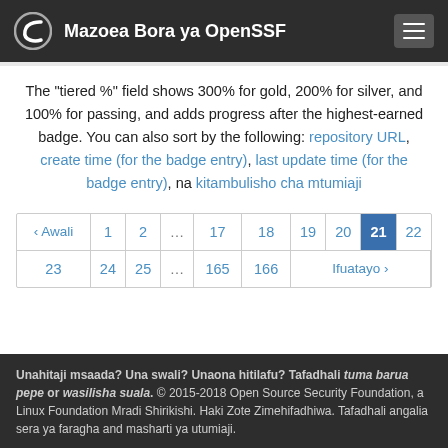Mazoea Bora ya OpenSSF
The "tiered %" field shows 300% for gold, 200% for silver, and 100% for passing, and adds progress after the highest-earned badge. You can also sort by the following: repository URL, create time (for the badge entry), last update time (for the badge entry), na kitambulisho cha mtumiaji
| ‹ Awali | 1 | 2 | ... | 17 | 18 | 19 | 20 | 21 | 22 |
| --- | --- | --- | --- | --- | --- | --- | --- | --- | --- |
| 23 | 24 | 25 | ... | 165 | 166 | Ifuatayo › |
Unahitaji msaada? Una swali? Unaona hitilafu? Tafadhali tuma barua pepe or wasilisha suala. © 2015-2018 Open Source Security Foundation, a Linux Foundation Mradi Shirikishi. Haki Zote Zimehifadhiwa. Tafadhali angalia sera ya faragha and masharti ya utumiaji.